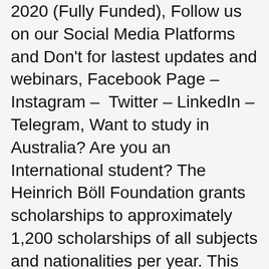2020 (Fully Funded), Follow us on our Social Media Platforms and Don't for lastest updates and webinars, Facebook Page – Instagram – Twitter – LinkedIn – Telegram, Want to study in Australia? Are you an International student? The Heinrich Böll Foundation grants scholarships to approximately 1,200 scholarships of all subjects and nationalities per year. This Foundation is also giving scholarships to the European Union, and German Students to Study in Germany for Free. All International Students, European Union, & German Students are eligible to apply for Heinrich Boll Foundation Scholarship to study free in Germany. 1200 Scholarships to pursue Undergraduate Degree, Masters Degree or Doctoral Degree Scholarships in Germany. The Heinrich Böll Foundation grants scholarships to approximately 1,200 undergraduates, graduates, and doctoral students of all subjects and nationalities per year, who are pursuing their degree at universities, universities of applied sciences ('Fachhochschulen'), or universities of the arts ('Kunst-/Musikhochschulen'). The application